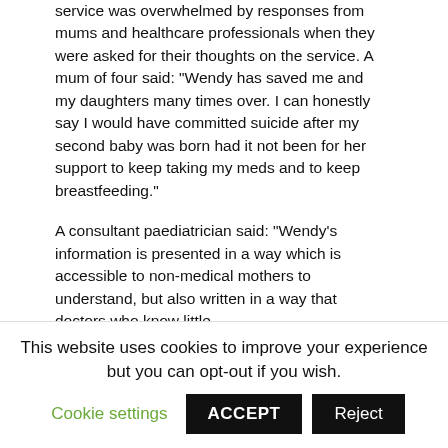service was overwhelmed by responses from mums and healthcare professionals when they were asked for their thoughts on the service. A mum of four said: "Wendy has saved me and my daughters many times over. I can honestly say I would have committed suicide after my second baby was born had it not been for her support to keep taking my meds and to keep breastfeeding."
A consultant paediatrician said: "Wendy's information is presented in a way which is accessible to non-medical mothers to understand, but also written in a way that doctors who know little
This website uses cookies to improve your experience but you can opt-out if you wish.
Cookie settings | ACCEPT | Reject